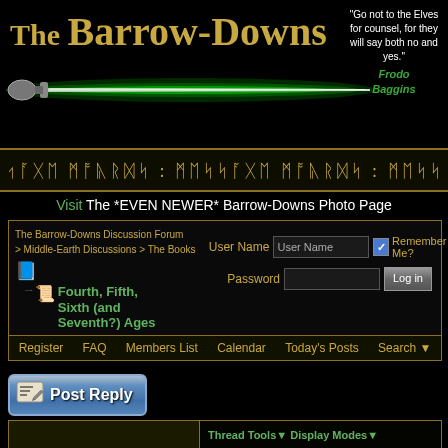[Figure (logo): The Barrow-Downs website logo with golden text and glowing green sword on black background]
"Go not to the Elves for counsel, for they will say both no and yes." Frodo Baggins
[Figure (other): Elvish script decorative banner]
Visit The *EVEN NEWER* Barrow-Downs Photo Page
| The Barrow-Downs Discussion Forum > Middle-Earth Discussions > The Books | User Name | User Name | Remember Me? | Password | Log in |
Fourth, Fifth, Sixth (and Seventh?) Ages
Register  FAQ  Members List  Calendar  Today's Posts  Search
[Figure (screenshot): Post Reply button - blue gradient button with pencil/paper icon]